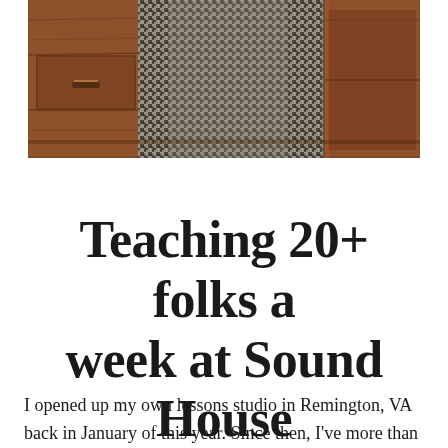[Figure (photo): Partial photo of a person in a houndstooth patterned jacket/trousers standing near a dark wood desk with drawers visible]
Teaching 20+ folks a week at Sound House
I opened up my own lessons studio in Remington, VA back in January of this year. Since then, I've more than